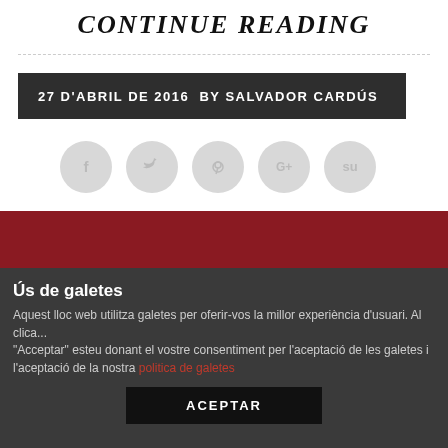CONTINUE READING
27 D'ABRIL DE 2016  BY SALVADOR CARDÚS
[Figure (infographic): Row of five social media sharing icon circles (Facebook, Twitter, Pinterest, Google+, StumbleUpon) in light gray]
Ús de galetes
Aquest lloc web utilitza galetes per oferir-vos la millor experiència d'usuari. Al clica... "Acceptar" esteu donant el vostre consentiment per l'aceptació de les galetes i l'aceptació de la nostra politica de galetes
ACEPTAR